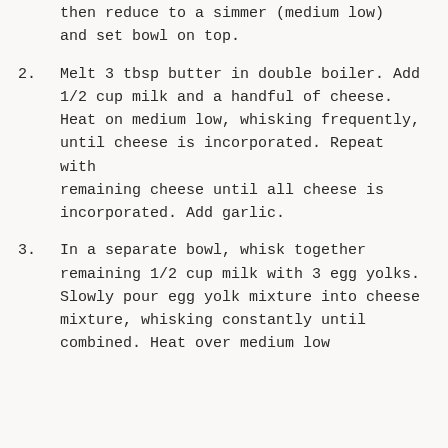then reduce to a simmer (medium low) and set bowl on top.
2. Melt 3 tbsp butter in double boiler. Add 1/2 cup milk and a handful of cheese. Heat on medium low, whisking frequently, until cheese is incorporated. Repeat with remaining cheese until all cheese is incorporated. Add garlic.
3. In a separate bowl, whisk together remaining 1/2 cup milk with 3 egg yolks. Slowly pour egg yolk mixture into cheese mixture, whisking constantly until combined. Heat over medium low